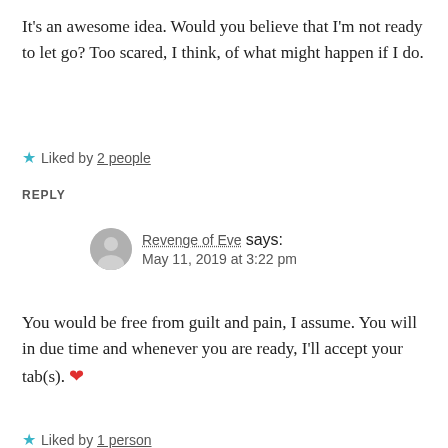It's an awesome idea. Would you believe that I'm not ready to let go? Too scared, I think, of what might happen if I do.
★ Liked by 2 people
REPLY
Revenge of Eve says: May 11, 2019 at 3:22 pm
You would be free from guilt and pain, I assume. You will in due time and whenever you are ready, I'll accept your tab(s). ❤
★ Liked by 1 person
REPLY
Barb says: